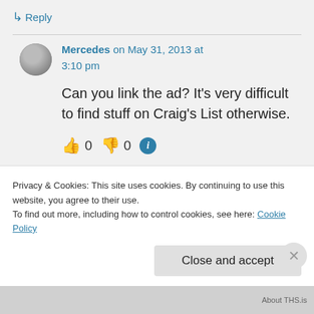↳ Reply
Mercedes on May 31, 2013 at 3:10 pm
Can you link the ad? It's very difficult to find stuff on Craig's List otherwise.
👍 0 👎 0 ℹ
Privacy & Cookies: This site uses cookies. By continuing to use this website, you agree to their use.
To find out more, including how to control cookies, see here: Cookie Policy
Close and accept